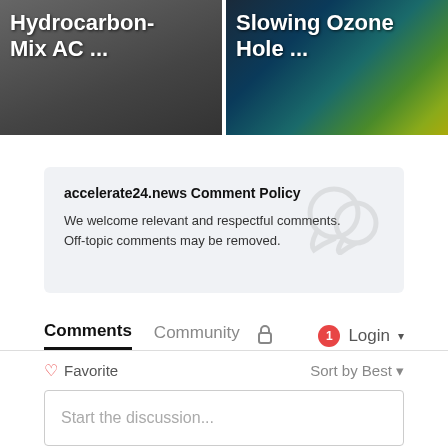[Figure (screenshot): Two thumbnail images side by side. Left: dark photo with race car, text 'Hydrocarbon-Mix AC ...'. Right: satellite image of ozone hole with text 'Slowing Ozone Hole ...']
accelerate24.news Comment Policy
We welcome relevant and respectful comments. Off-topic comments may be removed.
Comments   Community   [lock icon]   [1] Login ▾
♡ Favorite   Sort by Best ▾
Start the discussion...
LOG IN WITH
[Figure (screenshot): Social login icons: Disqus (D, blue), Facebook (f, dark blue), Twitter (bird, light blue), Google (G, red)]